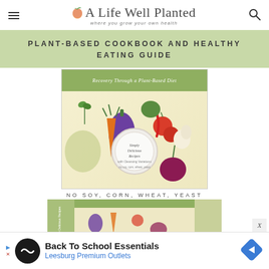A Life Well Planted — where you grow your own health
PLANT-BASED COOKBOOK AND HEALTHY EATING GUIDE
[Figure (illustration): Book cover showing 'Recovery Through a Plant-Based Diet' with illustrated vegetables and a plate, titled 'Simply Delicious Recipes' by Judy DeLorenzo. NO SOY, CORN, WHEAT, YEAST text below.]
[Figure (photo): Second view of the cookbook showing spine and back cover at an angle, by Judy DeLorenzo.]
Back To School Essentials — Leesburg Premium Outlets (advertisement)